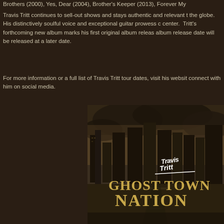Brothers (2000), Yes, Dear (2004), Brother's Keeper (2013), Forever My
Travis Tritt continues to sell-out shows and stays authentic and relevant t the globe. His distinctively soulful voice and exceptional guitar prowess c center. Tritt's forthcoming new album marks his first original album releas album release date will be released at a later date.
For more information or a full list of Travis Tritt tour dates, visit his websit connect with him on social media.
[Figure (illustration): Album cover for Travis Tritt's 'Ghost Town Nation' - shows a dramatic sepia-toned cityscape with dark storm clouds, empty streets, with 'Travis Tritt' signature logo in white script at top and 'GHOST TOWN NATION' in large gold/tan block letters below]